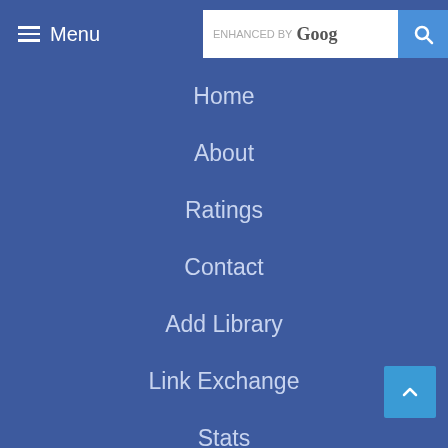Menu
Home
About
Ratings
Contact
Add Library
Link Exchange
Stats
Privacy Policy
Terms And Conditions
Links